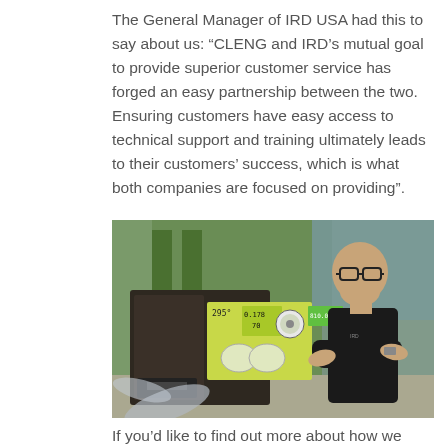The General Manager of IRD USA had this to say about us: “CLENG and IRD’s mutual goal to provide superior customer service has forged an easy partnership between the two. Ensuring customers have easy access to technical support and training ultimately leads to their customers’ success, which is what both companies are focused on providing”.
[Figure (photo): A man in a black polo shirt with arms crossed, standing in front of an industrial machine with a green digital display screen showing balancing equipment readings (295°, 0.178, 70), in a manufacturing/industrial facility with green structural elements in the background.]
If you’d like to find out more about how we can